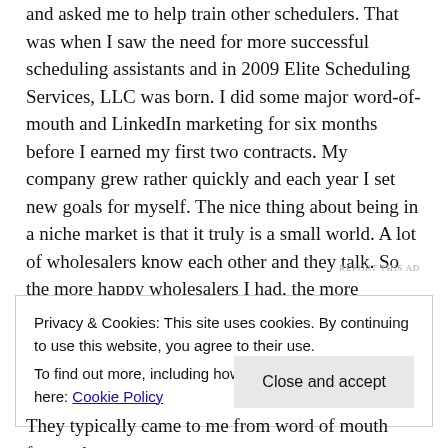and asked me to help train other schedulers. That was when I saw the need for more successful scheduling assistants and in 2009 Elite Scheduling Services, LLC was born. I did some major word-of-mouth and LinkedIn marketing for six months before I earned my first two contracts. My company grew rather quickly and each year I set new goals for myself. The nice thing about being in a niche market is that it truly is a small world. A lot of wholesalers know each other and they talk. So the more happy wholesalers I had, the more business I was getting.
REPORT THIS AD
Privacy & Cookies: This site uses cookies. By continuing to use this website, you agree to their use.
To find out more, including how to control cookies, see here: Cookie Policy
Close and accept
They typically came to me from word of mouth from other